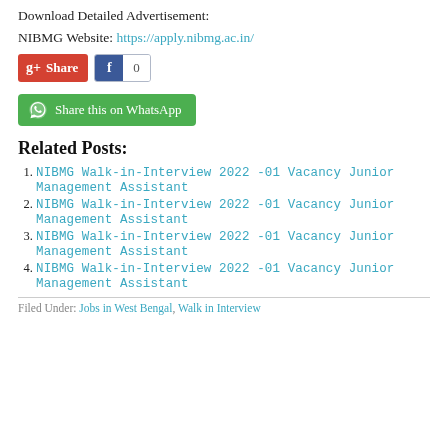Download Detailed Advertisement:
NIBMG Website: https://apply.nibmg.ac.in/
[Figure (other): Social share buttons: Google+ Share button (red) and Facebook like button with count 0]
[Figure (other): WhatsApp share button (green) with WhatsApp icon and text 'Share this on WhatsApp']
Related Posts:
NIBMG Walk-in-Interview 2022 -01 Vacancy Junior Management Assistant
NIBMG Walk-in-Interview 2022 -01 Vacancy Junior Management Assistant
NIBMG Walk-in-Interview 2022 -01 Vacancy Junior Management Assistant
NIBMG Walk-in-Interview 2022 -01 Vacancy Junior Management Assistant
Filed Under: Jobs in West Bengal, Walk in Interview